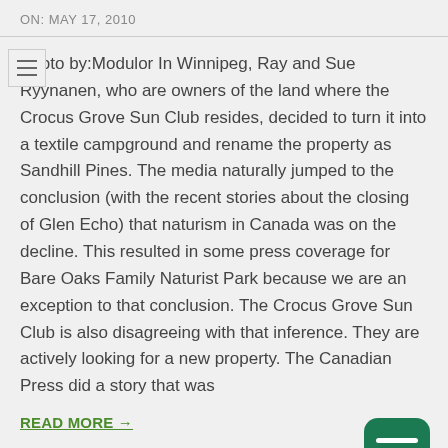ON:  MAY 17, 2010
Photo by:Modulor In Winnipeg, Ray and Sue Ryynanen, who are owners of the land where the Crocus Grove Sun Club resides, decided to turn it into a textile campground and rename the property as Sandhill Pines. The media naturally jumped to the conclusion (with the recent stories about the closing of Glen Echo) that naturism in Canada was on the decline. This resulted in some press coverage for Bare Oaks Family Naturist Park because we are an exception to that conclusion. The Crocus Grove Sun Club is also disagreeing with that inference. They are actively looking for a new property. The Canadian Press did a story that was
READ MORE →
[Figure (illustration): Green chat bubble icon with two horizontal white lines inside, positioned in the bottom right corner]